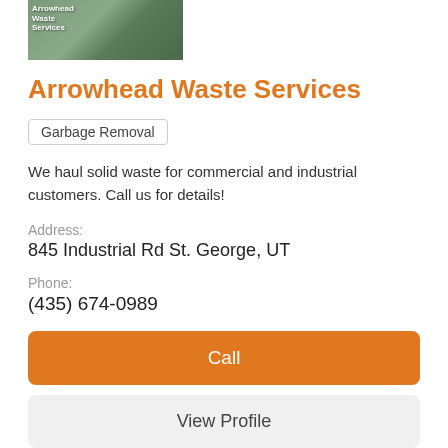[Figure (photo): Thumbnail image of a truck or waste service vehicle with green/dark background]
Arrowhead Waste Services
Garbage Removal
We haul solid waste for commercial and industrial customers. Call us for details!
Address:
845 Industrial Rd St. George, UT
Phone:
(435) 674-0989
Call
View Profile
[Figure (illustration): Generic building/business placeholder icon in grey]
Windmill Dumpster Rental St G…